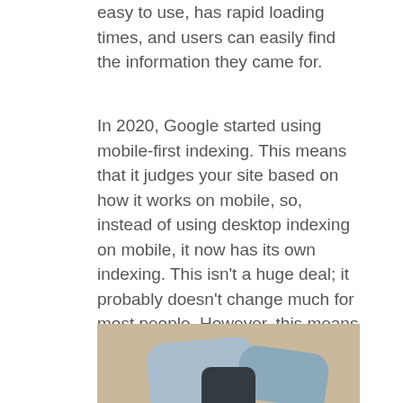easy to use, has rapid loading times, and users can easily find the information they came for.
In 2020, Google started using mobile-first indexing. This means that it judges your site based on how it works on mobile, so, instead of using desktop indexing on mobile, it now has its own indexing. This isn't a huge deal; it probably doesn't change much for most people. However, this means that It is even more important to get your site mobile ready!
[Figure (photo): Photo of a person sitting cross-legged on a beige carpet, wearing light blue jeans, viewed from above.]